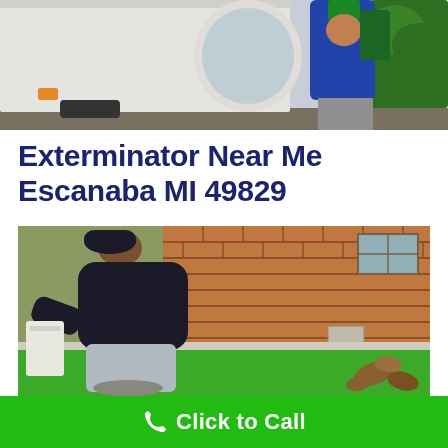[Figure (photo): Top portion showing a white service van and a person in a blue shirt with a green hat standing near it, with green bushes in the background]
Exterminator Near Me Escanaba MI 49829
[Figure (photo): Exterminator in dark shirt and grey pants bending down to apply treatment to the base of a brick wall, with green grass in the foreground and fallen leaves]
Click to Call